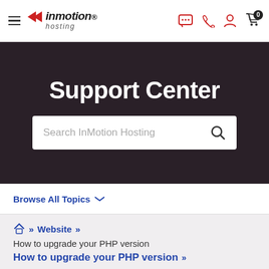InMotion Hosting - Support Center navigation bar
Support Center
Search InMotion Hosting
Browse All Topics
Home » Website »
How to upgrade your PHP version
How to upgrade your PHP version »